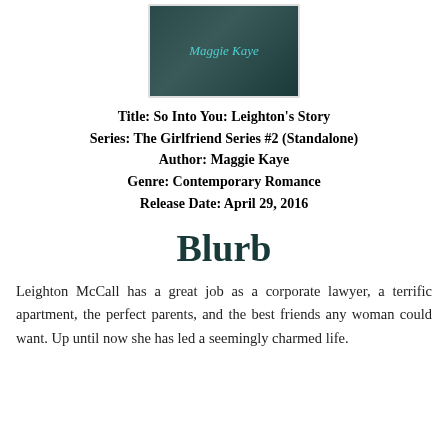[Figure (illustration): Book cover image with dark teal/green background showing 'Maggie Kaye' author name in teal text]
Title: So Into You: Leighton's Story
Series: The Girlfriend Series #2 (Standalone)
Author: Maggie Kaye
Genre: Contemporary Romance
Release Date: April 29, 2016
Blurb
Leighton McCall has a great job as a corporate lawyer, a terrific apartment, the perfect parents, and the best friends any woman could want. Up until now she has led a seemingly charmed life.